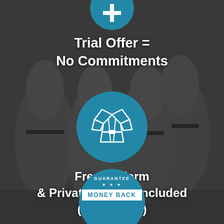[Figure (infographic): Grayscale background photo of martial arts students in white uniforms (gi) with black belts practicing in a dojo, with a dark overlay]
[Figure (infographic): Blue circular icon at top (partially cropped) with a white plus/cross symbol]
Trial Offer = No Commitments
[Figure (infographic): Blue circle with white outline icon of a martial arts gi/uniform (jacket with belt)]
Free Uniform & Private Lesson Included ($200 Value)
[Figure (infographic): Blue circular guarantee badge (partially cropped at bottom) with white text 'GUARANTEE' curved at top, three stars, and a white banner reading 'MONEY BACK']